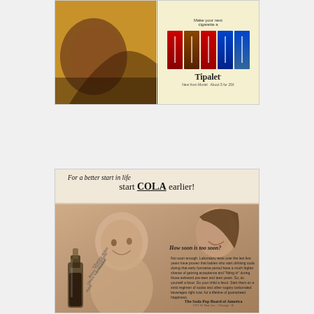[Figure (photo): Vintage Tipalet cigarette advertisement showing cigarette packs on a yellow/orange background with the text 'Make your next cigarette a Tipalet.' and product details]
[Figure (photo): Vintage cola advertisement with the headline 'For a better start in life start COLA earlier!' showing a baby and mother in sepia tones, a cola bottle, and body copy reading 'How soon is too soon?' with text about babies drinking soda, sponsored by The Soda Pop Board of America, 1375 W. Hart Ave., Chicago, IL]